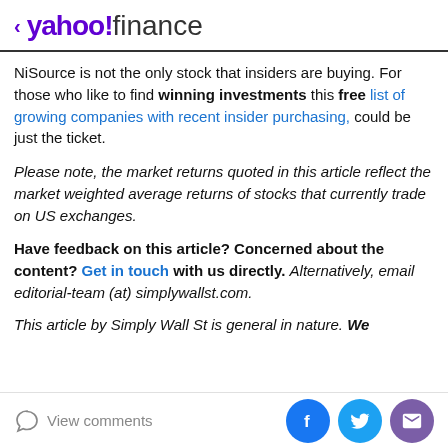< yahoo!finance
NiSource is not the only stock that insiders are buying. For those who like to find winning investments this free list of growing companies with recent insider purchasing, could be just the ticket.
Please note, the market returns quoted in this article reflect the market weighted average returns of stocks that currently trade on US exchanges.
Have feedback on this article? Concerned about the content? Get in touch with us directly. Alternatively, email editorial-team (at) simplywallst.com.
This article by Simply Wall St is general in nature. We
View comments